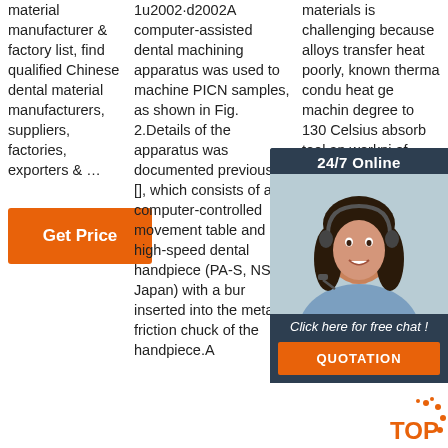material manufacturer & factory list, find qualified Chinese dental material manufacturers, suppliers, factories, exporters & …
Get Price
1u2002·d2002A computer-assisted dental machining apparatus was used to machine PICN samples, as shown in Fig. 2.Details of the apparatus was documented previously [], which consists of a computer-controlled movement table and a high-speed dental handpiece (PA-S, NSK, Japan) with a bur inserted into the metal friction chuck of the handpiece.A
materials is challenging because alloys transfer heat poorly, known thermal conductivity heat generation machining degrees to 1300 Celsius absorb tool and workpiece of being carried away in the cut chips. Thereby tool life suffers, and part distortion can occur.
[Figure (other): 24/7 Online chat widget with a woman wearing a headset, dark background with orange QUOTATION button and 'Click here for free chat!' text]